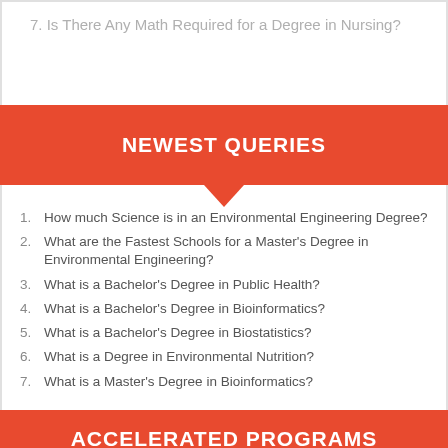7. Is There Any Math Required for a Degree in Nursing?
NEWEST QUERIES
1. How much Science is in an Environmental Engineering Degree?
2. What are the Fastest Schools for a Master's Degree in Environmental Engineering?
3. What is a Bachelor's Degree in Public Health?
4. What is a Bachelor's Degree in Bioinformatics?
5. What is a Bachelor's Degree in Biostatistics?
6. What is a Degree in Environmental Nutrition?
7. What is a Master's Degree in Bioinformatics?
ACCELERATED PROGRAMS